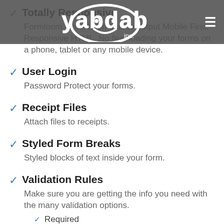yabdab inc. [logo with hamburger menu]
Totally Responsive
Formloom 4 has been built to output Mobile First, Responsive HTML. No fear loading your forms on a phone, tablet or any mobile device.
User Login
Password Protect your forms.
Receipt Files
Attach files to receipts.
Styled Form Breaks
Styled blocks of text inside your form.
Validation Rules
Make sure you are getting the info you need with the many validation options.
Required
Email Validation
URL Validation
Date Validation
Alphanumeric
Value Equal To...
Min Length
Max Length
Min Value